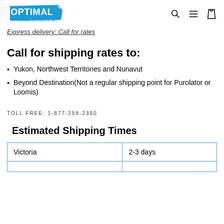Optimal Cases & Lights Inc. [logo] [search] [menu] [cart]
Express delivery: Call for rates
Call for shipping rates to:
Yukon, Northwest Territories and Nunavut
Beyond Destination(Not a regular shipping point for Purolator or Loomis)
TOLL FREE: 1-877-258-2350
Estimated Shipping Times
|  |  |
| --- | --- |
| Victoria | 2-3 days |